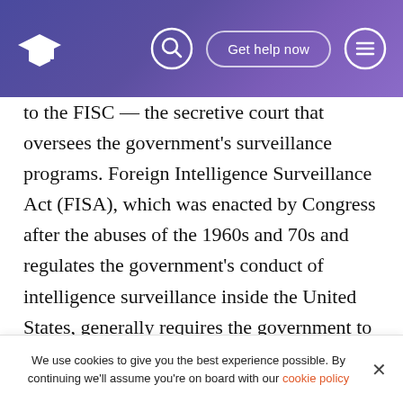Get help now
to the FISC — the secretive court that oversees the government's surveillance programs. Foreign Intelligence Surveillance Act (FISA), which was enacted by Congress after the abuses of the 1960s and 70s and regulates the government's conduct of intelligence surveillance inside the United States, generally requires the government to seek warrants before monitoring Americans' communications. In 2001, however, President Bush authorized the National Security Agency to launch a warrantless wiretapping program, and in 2008 Congress ratified and expanded that program, giving the NSA almost unchecked power to monitor Americans' international phone calls and emails challenging the law's constitutionality right after this. After
We use cookies to give you the best experience possible. By continuing we'll assume you're on board with our cookie policy